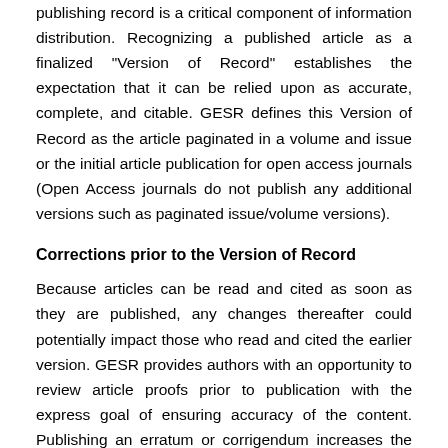publishing record is a critical component of information distribution. Recognizing a published article as a finalized "Version of Record" establishes the expectation that it can be relied upon as accurate, complete, and citable. GESR defines this Version of Record as the article paginated in a volume and issue or the initial article publication for open access journals (Open Access journals do not publish any additional versions such as paginated issue/volume versions).
Corrections prior to the Version of Record
Because articles can be read and cited as soon as they are published, any changes thereafter could potentially impact those who read and cited the earlier version. GESR provides authors with an opportunity to review article proofs prior to publication with the express goal of ensuring accuracy of the content. Publishing an erratum or corrigendum increases the likelihood readers will find out about the change and also explains